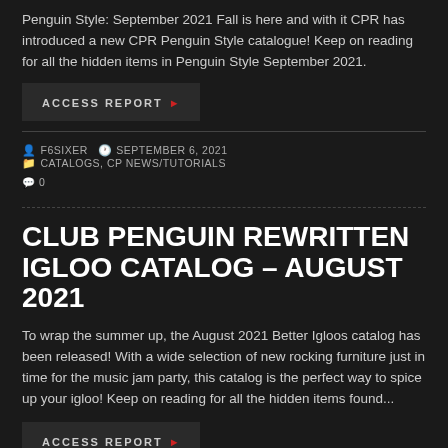Penguin Style: September 2021 Fall is here and with it CPR has introduced a new CPR Penguin Style catalogue! Keep on reading for all the hidden items in Penguin Style September 2021.
ACCESS REPORT ▶
F6SIXER   SEPTEMBER 6, 2021   CATALOGS, CP NEWS/TUTORIALS   0
CLUB PENGUIN REWRITTEN IGLOO CATALOG – AUGUST 2021
To wrap the summer up, the August 2021 Better Igloos catalog has been released! With a wide selection of new rocking furniture just in time for the music jam party, this catalog is the perfect way to spice up your igloo! Keep on reading for all the hidden items found...
ACCESS REPORT ▶